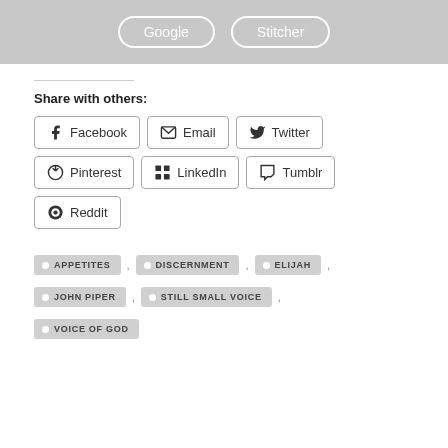[Figure (screenshot): Gray banner with Google and Stitcher rounded buttons in white outline]
Share with others:
Facebook
Email
Twitter
Pinterest
LinkedIn
Tumblr
Reddit
APPETITES
DISCERNMENT
ELIJAH
JOHN PIPER
STILL SMALL VOICE
VOICE OF GOD